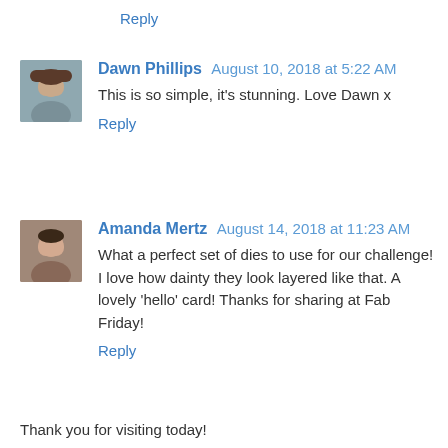Reply
Dawn Phillips  August 10, 2018 at 5:22 AM
This is so simple, it's stunning. Love Dawn x
Reply
Amanda Mertz  August 14, 2018 at 11:23 AM
What a perfect set of dies to use for our challenge! I love how dainty they look layered like that. A lovely 'hello' card! Thanks for sharing at Fab Friday!
Reply
Thank you for visiting today!